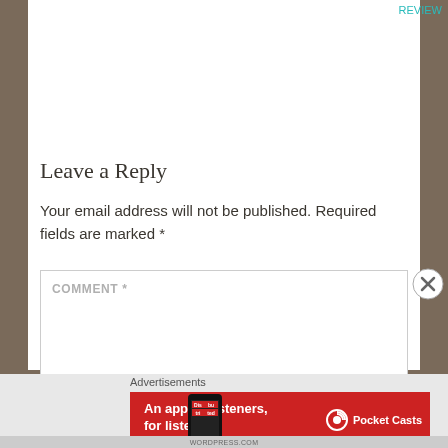REVIEW
Leave a Reply
Your email address will not be published. Required fields are marked *
COMMENT *
Advertisements
[Figure (illustration): Red advertisement banner for Pocket Casts app: 'An app by listeners, for listeners.' with phone graphic and Pocket Casts logo]
WORDPRESS.COM